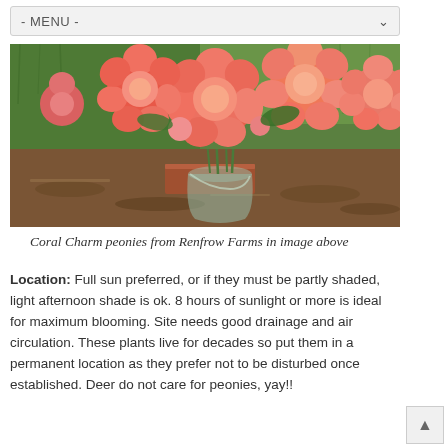- MENU -
[Figure (photo): Coral Charm peonies in a glass vase sitting on a brick surface outdoors with green grass in the background]
Coral Charm peonies from Renfrow Farms in image above
Location: Full sun preferred, or if they must be partly shaded, light afternoon shade is ok. 8 hours of sunlight or more is ideal for maximum blooming. Site needs good drainage and air circulation. These plants live for decades so put them in a permanent location as they prefer not to be disturbed once established. Deer do not care for peonies, yay!!